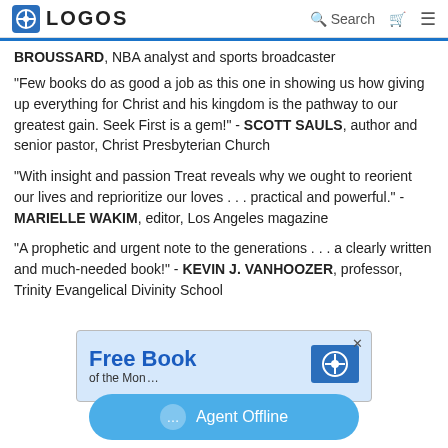LOGOS | Search
BROUSSARD, NBA analyst and sports broadcaster
"Few books do as good a job as this one in showing us how giving up everything for Christ and his kingdom is the pathway to our greatest gain. Seek First is a gem!" - SCOTT SAULS, author and senior pastor, Christ Presbyterian Church
"With insight and passion Treat reveals why we ought to reorient our lives and reprioritize our loves . . . practical and powerful." - MARIELLE WAKIM, editor, Los Angeles magazine
"A prophetic and urgent note to the generations . . . a clearly written and much-needed book!" - KEVIN J. VANHOOZER, professor, Trinity Evangelical Divinity School
[Figure (screenshot): Advertisement banner: Free Book of the Month with Logos logo]
Agent Offline